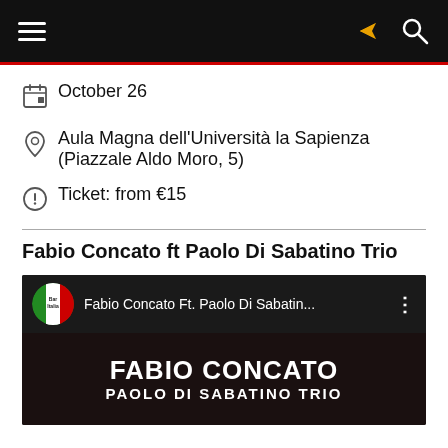Navigation bar with hamburger menu, share icon, and search icon
October 26
Aula Magna dell'Università la Sapienza (Piazzale Aldo Moro, 5)
Ticket: from €15
Fabio Concato ft Paolo Di Sabatino Trio
[Figure (screenshot): YouTube video embed showing 'Fabio Concato Ft. Paolo Di Sabatin...' with a circular green/red/white Italian-flag channel logo and a dark thumbnail showing 'FABIO CONCATO' and 'PAOLO DI SABATINO TRIO' in white bold text]